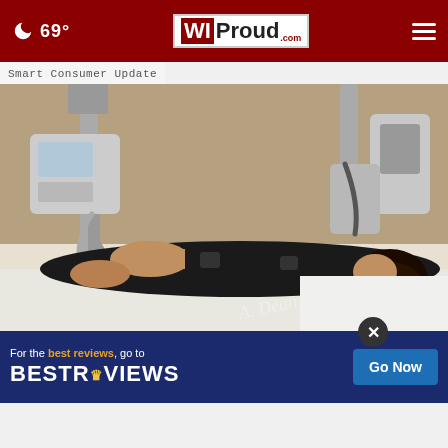69° WIProud.com
Smart Consumer Update
[Figure (photo): Woman lying face down on a medical table receiving laser liposuction treatment, with medical equipment arms positioned around her torso, wearing black athletic wear, smiling, in a clinical setting.]
Here's What Laser Liposuction Should Cost You in 2024
Lipo
[Figure (other): BestReviews advertisement banner: 'For the best reviews, go to BESTREVIEWS' with a 'Go Now' button on a dark blue background.]